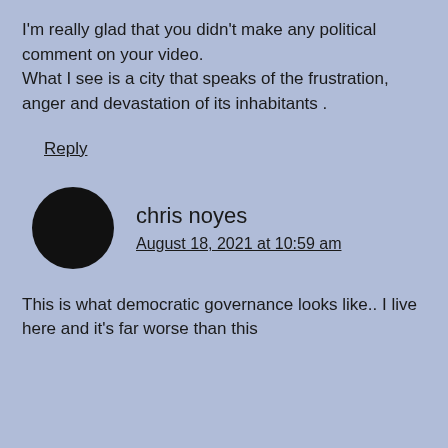I'm really glad that you didn't make any political comment on your video. What I see is a city that speaks of the frustration, anger and devastation of its inhabitants .
Reply
chris noyes
August 18, 2021 at 10:59 am
This is what democratic governance looks like.. I live here and it's far worse than this